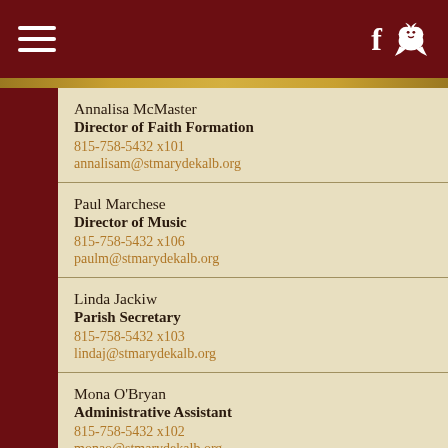Navigation header with hamburger menu and social icons (Facebook, bird)
Annalisa McMaster
Director of Faith Formation
815-758-5432 x101
annalisam@stmarydekalb.org
Paul Marchese
Director of Music
815-758-5432 x106
paulm@stmarydekalb.org
Linda Jackiw
Parish Secretary
815-758-5432 x103
lindaj@stmarydekalb.org
Mona O'Bryan
Administrative Assistant
815-758-5432 x102
monao@stmarydekalb.org
Scott Morrow